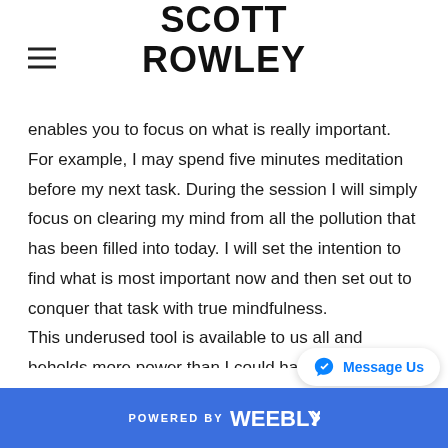SCOTT ROWLEY
enables you to focus on what is really important. For example, I may spend five minutes meditation before my next task. During the session I will simply focus on clearing my mind from all the pollution that has been filled into today. I will set the intention to find what is most important now and then set out to conquer that task with true mindfulness.

This underused tool is available to us all and beholds more power than I could have ever imagined.
POWERED BY weebly